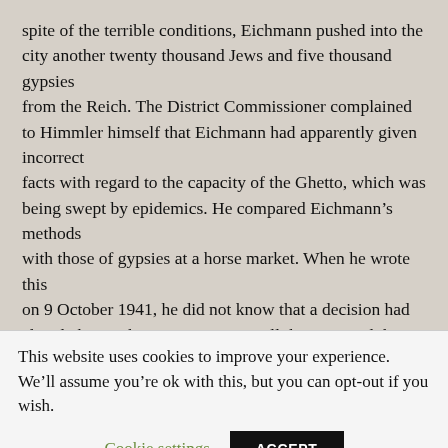spite of the terrible conditions, Eichmann pushed into the city another twenty thousand Jews and five thousand gypsies from the Reich. The District Commissioner complained to Himmler himself that Eichmann had apparently given incorrect facts with regard to the capacity of the Ghetto, which was being swept by epidemics. He compared Eichmann’s methods with those of gypsies at a horse market. When he wrote this on 9 October 1941, he did not know that a decision had already been taken to exterminate all the Jews and that it
This website uses cookies to improve your experience. We’ll assume you’re ok with this, but you can opt-out if you wish.
Cookie settings   ACCEPT